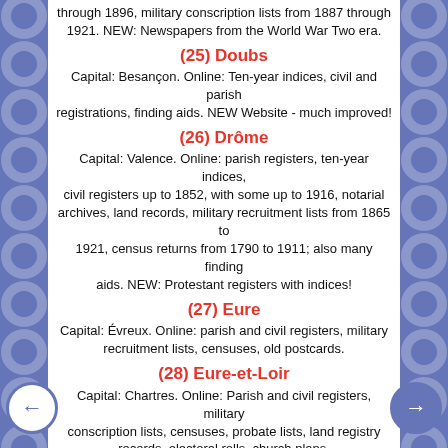through 1896, military conscription lists from 1887 through 1921. NEW: Newspapers from the World War Two era.
(25) Doubs
Capital: Besançon. Online: Ten-year indices, civil and parish registrations, finding aids. NEW Website - much improved!
(26) Drôme
Capital: Valence. Online: parish registers, ten-year indices, civil registers up to 1852, with some up to 1916, notarial archives, land records, military recruitment lists from 1865 to 1921, census returns from 1790 to 1911; also many finding aids. NEW: Protestant registers with indices!
(27) Eure
Capital: Évreux. Online: parish and civil registers, military recruitment lists, censuses, old postcards.
(28) Eure-et-Loir
Capital: Chartres. Online: Parish and civil registers, military conscription lists, censuses, probate lists, land registry records, electoral rolls, church plans.
(29) Finistère
Capital: Quimper. Online: Maps, parish and civil registratio census returns, military recruitment lists from 1860-1913, local maps with place names in Breton.. Parish registrations